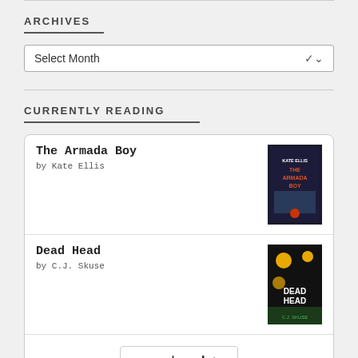ARCHIVES
Select Month
CURRENTLY READING
The Armada Boy
by Kate Ellis
Dead Head
by C.J. Skuse
goodreads·